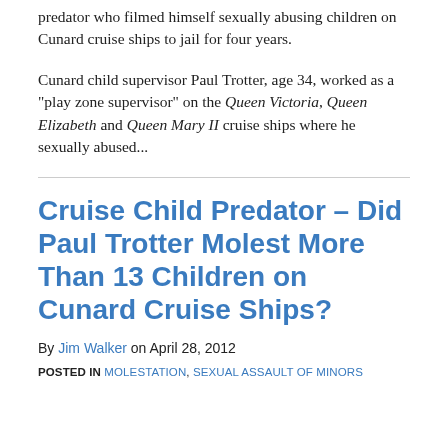predator who filmed himself sexually abusing children on Cunard cruise ships to jail for four years.
Cunard child supervisor Paul Trotter, age 34, worked as a "play zone supervisor" on the Queen Victoria, Queen Elizabeth and Queen Mary II cruise ships where he sexually abused...
Cruise Child Predator – Did Paul Trotter Molest More Than 13 Children on Cunard Cruise Ships?
By Jim Walker on April 28, 2012
POSTED IN MOLESTATION, SEXUAL ASSAULT OF MINORS